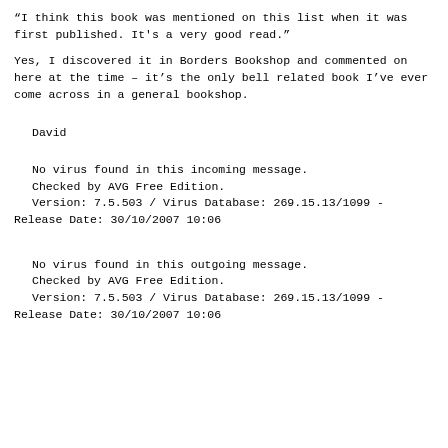“I think this book was mentioned on this list when it was first published. It’s a very good read.”
Yes, I discovered it in Borders Bookshop and commented on here at the time – it’s the only bell related book I’ve ever come across in a general bookshop.
David
No virus found in this incoming message.
Checked by AVG Free Edition.
Version: 7.5.503 / Virus Database: 269.15.13/1099 - Release Date: 30/10/2007 10:06
No virus found in this outgoing message.
Checked by AVG Free Edition.
Version: 7.5.503 / Virus Database: 269.15.13/1099 - Release Date: 30/10/2007 10:06